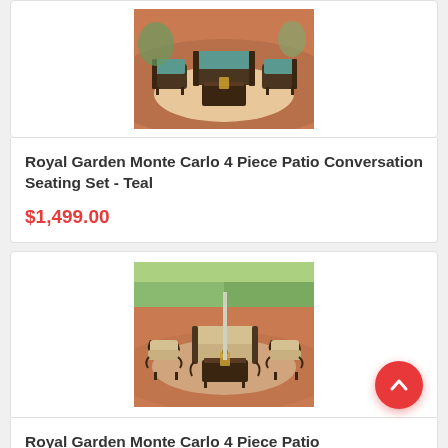[Figure (photo): Patio conversation set with teal/green cushions on iron frames, outdoor setting on terracotta patio]
Royal Garden Monte Carlo 4 Piece Patio Conversation Seating Set - Teal
$1,499.00
[Figure (photo): Patio conversation set with beige/tan cushions on ornate iron frames, outdoor setting]
Royal Garden Monte Carlo 4 Piece Patio Conversation Seating Set - Tan